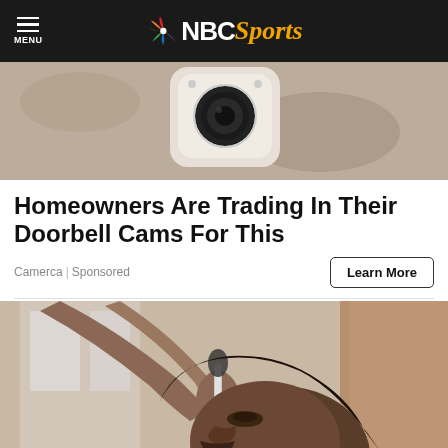NBC Sports
[Figure (photo): Top portion of a doorbell camera mounted on a textured wall, partially cropped]
Homeowners Are Trading In Their Doorbell Cams For This
Camerca | Sponsored
Learn More
[Figure (photo): A woman tilting her head back receiving drops from a dropper, indoors with soft natural light]